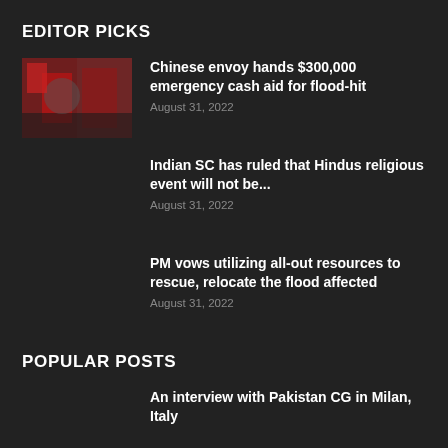EDITOR PICKS
Chinese envoy hands $300,000 emergency cash aid for flood-hit
Indian SC has ruled that Hindus religious event will not be...
PM vows utilizing all-out resources to rescue, relocate the flood affected
POPULAR POSTS
An interview with Pakistan CG in Milan, Italy